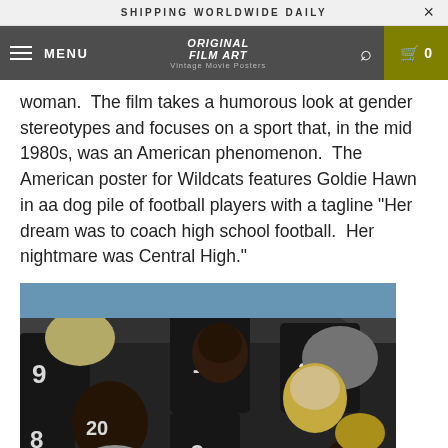SHIPPING WORLDWIDE DAILY
MENU | ORIGINAL FILM ART | 0
woman.  The film takes a humorous look at gender stereotypes and focuses on a sport that, in the mid 1980s, was an American phenomenon.  The American poster for Wildcats features Goldie Hawn in aa dog pile of football players with a tagline "Her dream was to coach high school football.  Her nightmare was Central High."
[Figure (photo): Movie poster image showing Goldie Hawn surrounded by football players in black and white uniforms with helmets, in a dog pile formation.]